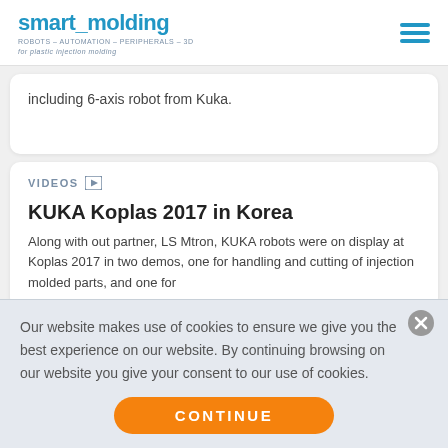smart_molding ROBOTS – AUTOMATION – PERIPHERALS – 3D for plastic injection molding
including 6-axis robot from Kuka.
VIDEOS
KUKA Koplas 2017 in Korea
Along with out partner, LS Mtron, KUKA robots were on display at Koplas 2017 in two demos, one for handling and cutting of injection molded parts, and one for
Our website makes use of cookies to ensure we give you the best experience on our website. By continuing browsing on our website you give your consent to our use of cookies.
CONTINUE
NEWS